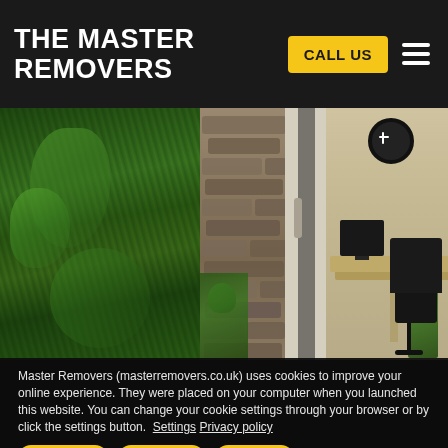THE MASTER REMOVERS
CALL US
[Figure (photo): Photo of a property showing lush green garden vegetation on the left, a stone wall in the middle, a white bifold/sliding door frame, and a modern office/living interior space on the right with a desk, monitor, chair, and wall clock.]
Master Removers (masterremovers.co.uk) uses cookies to improve your online experience. They were placed on your computer when you launched this website. You can change your cookie settings through your browser or by click the settings button.  Settings Privacy policy
Accept All
Reject All
Settings